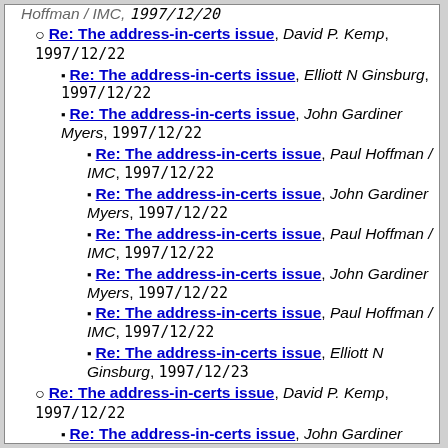Re: The address-in-certs issue, David P. Kemp, 1997/12/22
Re: The address-in-certs issue, Elliott N Ginsburg, 1997/12/22
Re: The address-in-certs issue, John Gardiner Myers, 1997/12/22
Re: The address-in-certs issue, Paul Hoffman / IMC, 1997/12/22
Re: The address-in-certs issue, John Gardiner Myers, 1997/12/22
Re: The address-in-certs issue, Paul Hoffman / IMC, 1997/12/22
Re: The address-in-certs issue, John Gardiner Myers, 1997/12/22
Re: The address-in-certs issue, Paul Hoffman / IMC, 1997/12/22
Re: The address-in-certs issue, Elliott N Ginsburg, 1997/12/23
Re: The address-in-certs issue, David P. Kemp, 1997/12/22
Re: The address-in-certs issue, John Gardiner Myers, 1997/12/22
Re: The address-in-certs issue, Elliott N Ginsburg, 1997/12/23
RE: The address-in-certs issue, Larry Layton, (partial)